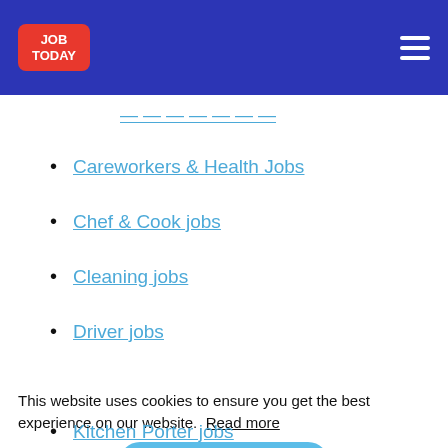JOB TODAY
Careworkers & Health Jobs
Chef & Cook jobs
Cleaning jobs
Driver jobs
This website uses cookies to ensure you get the best experience on our website. Read more
Kitchen Porter jobs